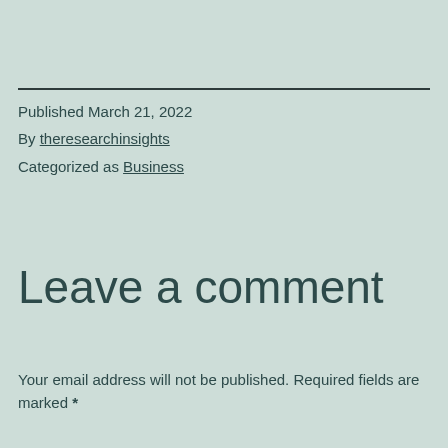Published March 21, 2022
By theresearchinsights
Categorized as Business
Leave a comment
Your email address will not be published. Required fields are marked *